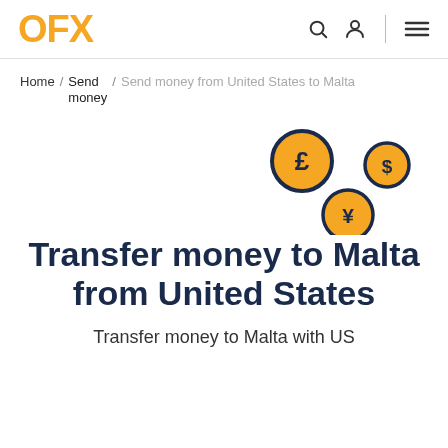OFX
Home / Send money / Send money from United States to Malta
[Figure (illustration): Three currency coins with symbols: pound (£), dollar ($), and yen (¥), arranged decoratively on the right side]
Transfer money to Malta from United States
Transfer money to Malta with US